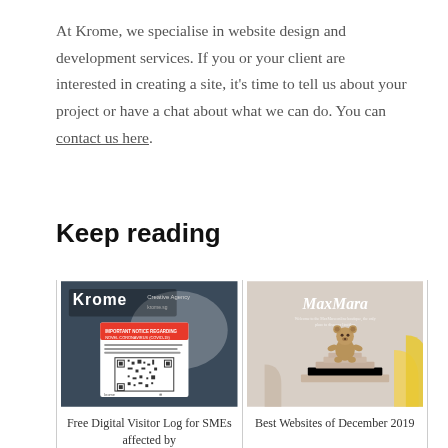At Krome, we specialise in website design and development services. If you or your client are interested in creating a site, it's time to tell us about your project or have a chat about what we can do. You can contact us here.
Keep reading
[Figure (photo): Photo of Krome Creative Agency sign with a QR code notice about visitor log for COVID-19]
Free Digital Visitor Log for SMEs affected by
[Figure (photo): MaxMara website screenshot showing a teddy bear on decorative steps with yellow arch]
Best Websites of December 2019